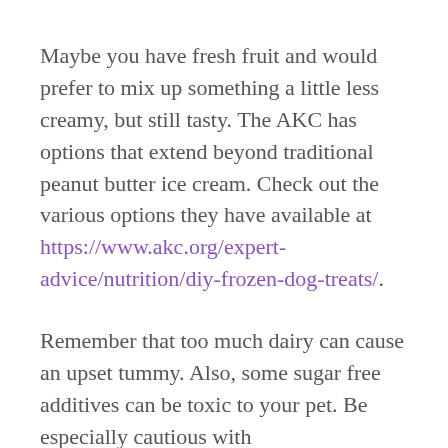Maybe you have fresh fruit and would prefer to mix up something a little less creamy, but still tasty. The AKC has options that extend beyond traditional peanut butter ice cream. Check out the various options they have available at https://www.akc.org/expert-advice/nutrition/diy-frozen-dog-treats/.
Remember that too much dairy can cause an upset tummy. Also, some sugar free additives can be toxic to your pet. Be especially cautious with